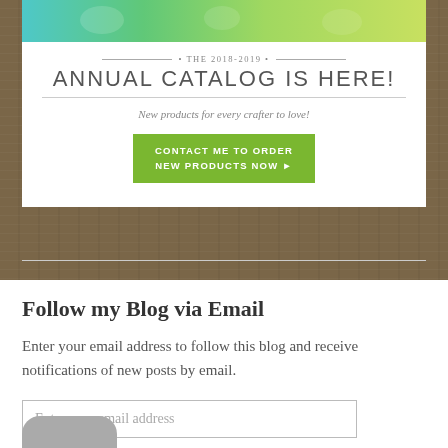[Figure (illustration): Top portion of annual catalog promotional card with colorful crafting products in teal and green tones]
• THE 2018-2019 • ANNUAL CATALOG IS HERE!
New products for every crafter to love!
CONTACT ME TO ORDER NEW PRODUCTS NOW ▶
Follow my Blog via Email
Enter your email address to follow this blog and receive notifications of new posts by email.
Enter your email address